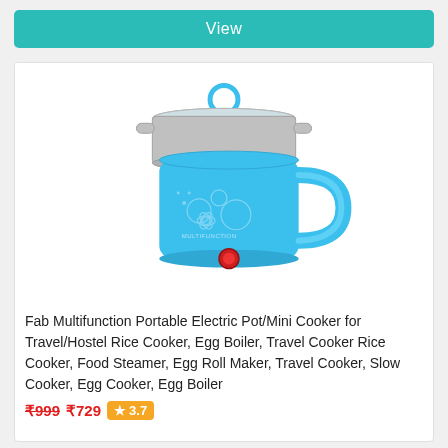View
[Figure (photo): Blue multifunction portable electric pot/mini cooker with glass lid and stainless steel steamer insert, blue handle, red power button at base, decorative floral pattern on body, labeled MULTIFUNCTION]
Fab Multifunction Portable Electric Pot/Mini Cooker for Travel/Hostel Rice Cooker, Egg Boiler, Travel Cooker Rice Cooker, Food Steamer, Egg Roll Maker, Travel Cooker, Slow Cooker, Egg Cooker, Egg Boiler
₹999 ₹729 ★ 3.7